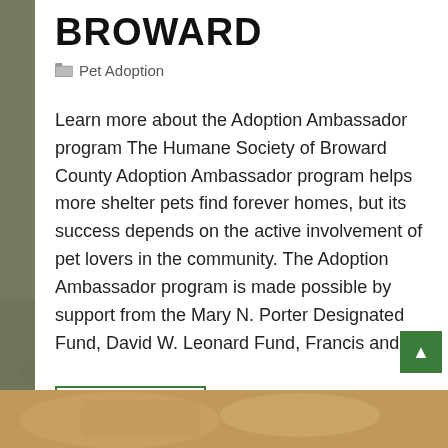BROWARD
Pet Adoption
Learn more about the Adoption Ambassador program The Humane Society of Broward County Adoption Ambassador program helps more shelter pets find forever homes, but its success depends on the active involvement of pet lovers in the community. The Adoption Ambassador program is made possible by support from the Mary N. Porter Designated Fund, David W. Leonard Fund, Francis and...
Read more
[Figure (photo): Bottom strip showing a pet/animal photo in warm brown/orange tones]